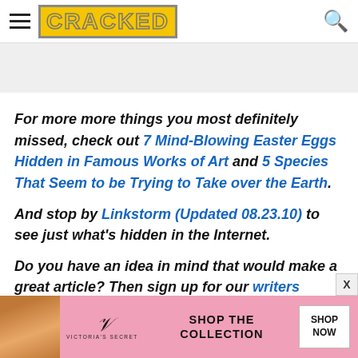CRACKED
[Figure (other): Gray advertisement placeholder banner]
For more more things you most definitely missed, check out 7 Mind-Blowing Easter Eggs Hidden in Famous Works of Art and 5 Species That Seem to be Trying to Take over the Earth.
And stop by Linkstorm (Updated 08.23.10) to see just what's hidden in the Internet.
Do you have an idea in mind that would make a great article? Then sign up for our writers worksh
[Figure (other): Victoria's Secret advertisement banner at bottom with model photo, VS logo, SHOP THE COLLECTION text, and SHOP NOW button]